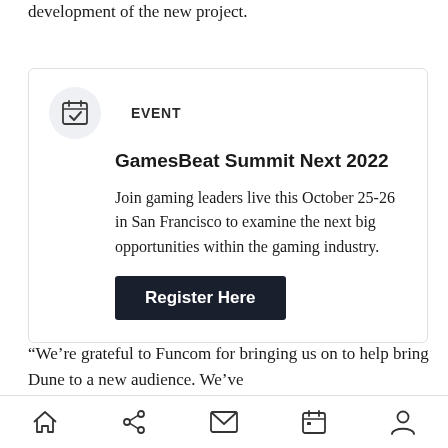development of the new project.
[Figure (other): Calendar icon in a light gray circle]
EVENT
GamesBeat Summit Next 2022
Join gaming leaders live this October 25-26 in San Francisco to examine the next big opportunities within the gaming industry.
Register Here
“We’re grateful to Funcom for bringing us on to help bring Dune to a new audience. We’ve
[Figure (other): Bottom navigation bar with home, share, mail, calendar, and person icons]